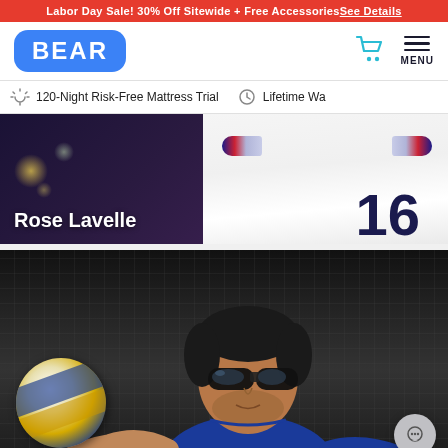Labor Day Sale! 30% Off Sitewide + Free Accessories See Details
[Figure (logo): BEAR mattress brand logo in blue rounded rectangle]
120-Night Risk-Free Mattress Trial   Lifetime Wa...
[Figure (photo): Rose Lavelle soccer player wearing jersey number 16 with bokeh background lights]
[Figure (photo): Male beach volleyball player wearing sunglasses holding a volleyball, net background visible]